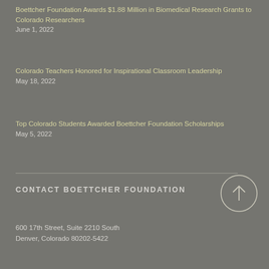Boettcher Foundation Awards $1.88 Million in Biomedical Research Grants to Colorado Researchers
June 1, 2022
Colorado Teachers Honored for Inspirational Classroom Leadership
May 18, 2022
Top Colorado Students Awarded Boettcher Foundation Scholarships
May 5, 2022
CONTACT BOETTCHER FOUNDATION
600 17th Street, Suite 2210 South
Denver, Colorado 80202-5422